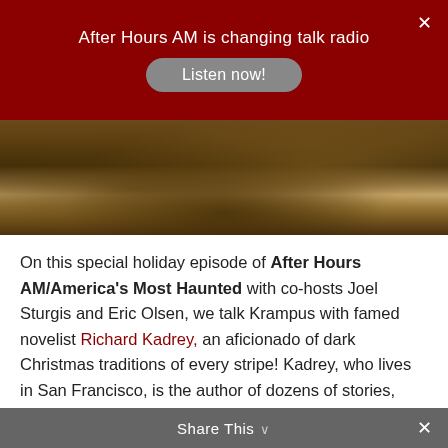After Hours AM is changing talk radio | Listen now!
[Figure (photo): Dark atmospheric landscape image with foliage and earthy tones]
On this special holiday episode of After Hours AM/America's Most Haunted with co-hosts Joel Sturgis and Eric Olsen, we talk Krampus with famed novelist Richard Kadrey, an aficionado of dark Christmas traditions of every stripe! Kadrey, who lives in San Francisco, is the author of dozens of stories, plus ten novels, including the Sandman Slim series (Kill the Dead, Aloha from Hell, Devil Said Bang, Kill City Blues, The Getaway God, Killing Pretty), Metrophage, Dead Set, and Butcher Bird. He has written and spoken about art, culture and technology for Wired, The San Francisco Chronicle, Doing, The Site, SXSW
Share This